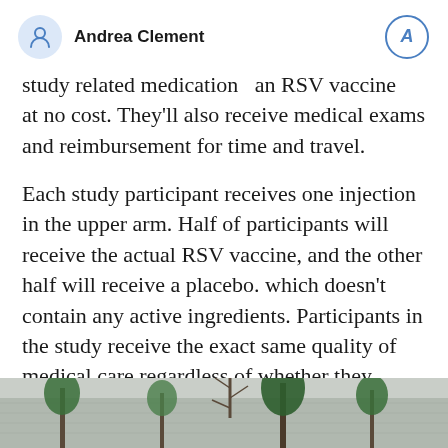Andrea Clement
study related medication — an RSV vaccine — at no cost. They'll also receive medical exams and reimbursement for time and travel.
Each study participant receives one injection in the upper arm. Half of participants will receive the actual RSV vaccine, and the other half will receive a placebo. which doesn't contain any active ingredients. Participants in the study receive the exact same quality of medical care regardless of whether they receive the vaccine or the placebo.
[Figure (photo): Outdoor photo showing trees and plants near a building, partially visible at bottom of page]